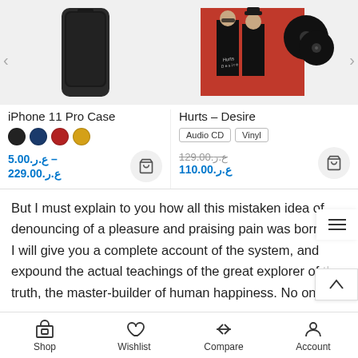[Figure (photo): iPhone 11 Pro Case product image on grey background]
[Figure (photo): Hurts - Desire album cover with two men and vinyl records on red background]
iPhone 11 Pro Case
Hurts – Desire
5.00.ع.ر – 229.00.ع.ر
129.00.ع.ر  110.00.ع.ر
But I must explain to you how all this mistaken idea of denouncing of a pleasure and praising pain was born and I will give you a complete account of the system, and expound the actual teachings of the great explorer of the truth, the master-builder of human happiness. No on…
Shop  Wishlist  Compare  Account